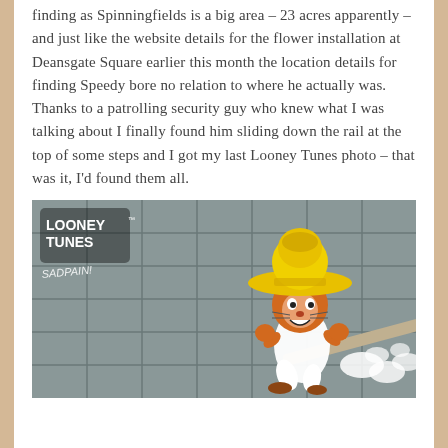finding as Spinningfields is a big area – 23 acres apparently – and just like the website details for the flower installation at Deansgate Square earlier this month the location details for finding Speedy bore no relation to where he actually was. Thanks to a patrolling security guy who knew what I was talking about I finally found him sliding down the rail at the top of some steps and I got my last Looney Tunes photo – that was it, I'd found them all.
[Figure (photo): Photo of a Looney Tunes street art installation showing Speedy Gonzales cartoon character running, on a grey tiled wall. The Looney Tunes logo with 'Looney Tunes' text is visible in the upper left, along with graffiti tag 'SADPAIN!'. Speedy is depicted with his yellow sombrero, orange fur, and white outfit, running with speed lines/dust clouds.]